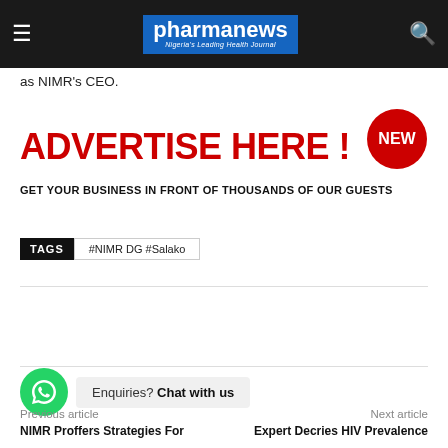pharmanews — Nigeria's Leading Health Journal
as NIMR's CEO.
[Figure (infographic): Advertisement banner: ADVERTISE HERE! GET YOUR BUSINESS IN FRONT OF THOUSANDS OF OUR GUESTS, with a red NEW badge in the top right corner.]
TAGS   #NIMR DG #Salako
Enquiries? Chat with us
Previous article
Next article
NIMR Proffers Strategies For
Expert Decries HIV Prevalence